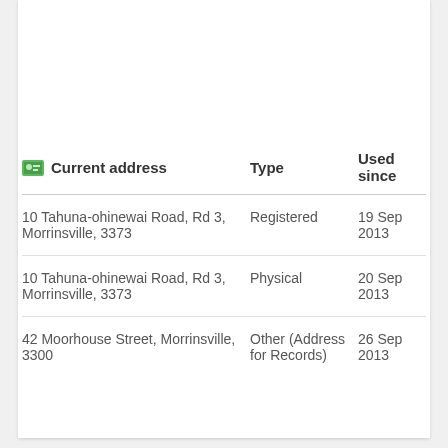| Current address | Type | Used since |
| --- | --- | --- |
| 10 Tahuna-ohinewai Road, Rd 3, Morrinsville, 3373 | Registered | 19 Sep 2013 |
| 10 Tahuna-ohinewai Road, Rd 3, Morrinsville, 3373 | Physical | 20 Sep 2013 |
| 42 Moorhouse Street, Morrinsville, 3300 | Other (Address for Records) | 26 Sep 2013 |